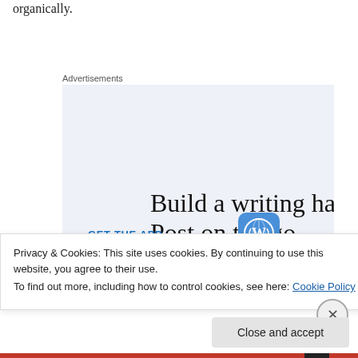organically.
Advertisements
[Figure (infographic): WordPress advertisement with light blue background. Large serif text reads 'Build a writing habit. Post on the go.' Below is a 'GET THE APP' call-to-action link and a WordPress logo icon.]
Privacy & Cookies: This site uses cookies. By continuing to use this website, you agree to their use.
To find out more, including how to control cookies, see here: Cookie Policy
Close and accept